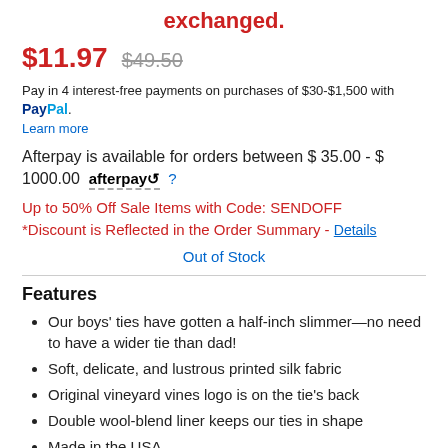exchanged.
$11.97  $49.50
Pay in 4 interest-free payments on purchases of $30-$1,500 with PayPal. Learn more
Afterpay is available for orders between $ 35.00 - $ 1000.00 afterpay ?
Up to 50% Off Sale Items with Code: SENDOFF *Discount is Reflected in the Order Summary - Details
Out of Stock
Features
Our boys' ties have gotten a half-inch slimmer—no need to have a wider tie than dad!
Soft, delicate, and lustrous printed silk fabric
Original vineyard vines logo is on the tie's back
Double wool-blend liner keeps our ties in shape
Made in the USA